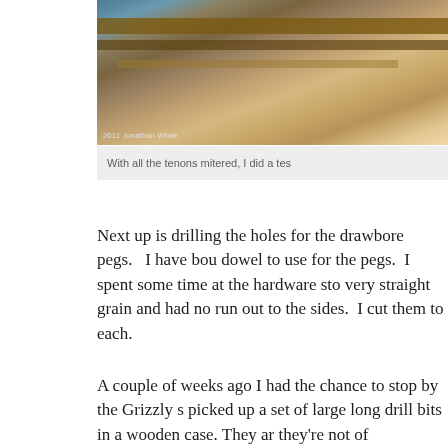[Figure (photo): Close-up photo of wooden tenon joinery with mitered ends, showing wood grain and structural frame components. Photo credit: 2011 Jonathan White]
With all the tenons mitered, I did a tes
Next up is drilling the holes for the drawbore pegs.   I have bou dowel to use for the pegs.  I spent some time at the hardware sto very straight grain and had no run out to the sides.  I cut them to each.
A couple of weeks ago I had the chance to stop by the Grizzly s picked up a set of large long drill bits in a wooden case. They ar they're not of particularly good quality, but what do you expect some pretty serious burrs left on the cutting edge from the facto had it sharpened to my satisfaction in only a few minutes. Once beautifully.
I had planned on putting two pegs in each tenon, but there just i